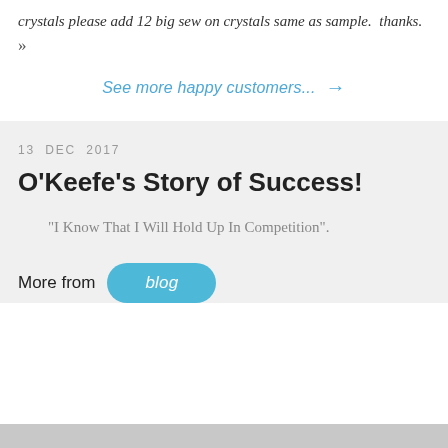crystals please add 12 big sew on crystals same as sample. thanks. »
See more happy customers... →
13 DEC 2017
O'Keefe's Story of Success!
"I Know That I Will Hold Up In Competition".
More from blog